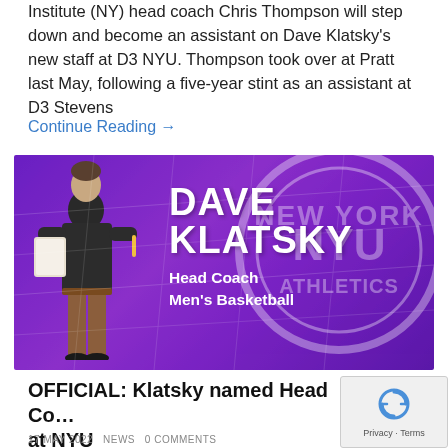Institute (NY) head coach Chris Thompson will step down and become an assistant on Dave Klatsky's new staff at D3 NYU. Thompson took over at Pratt last May, following a five-year stint as an assistant at D3 Stevens
Continue Reading →
[Figure (photo): Promotional banner for Dave Klatsky named Head Coach Men's Basketball at NYU. Purple background with NYU logo watermark, coach standing on left holding clipboard/notebook.]
OFFICIAL: Klatsky named Head Co… at NYU
17 MAY 2022   NEWS   0 COMMENTS